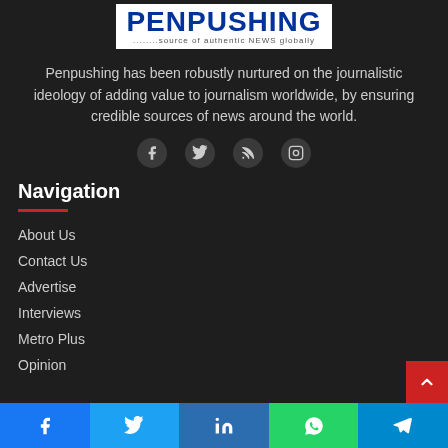[Figure (logo): Penpushing logo with blue bold text and tagline '........source of authentic NEWS globally' on white background]
Penpushing has been robustly nurtured on the journalistic ideology of adding value to journalism worldwide, by ensuring credible sources of news around the world.
[Figure (infographic): Social media icons: Facebook, Twitter, RSS, Instagram]
Navigation
About Us
Contact Us
Advertise
Interviews
Metro Plus
Opinion
Facebook | Twitter | LinkedIn | WhatsApp | Telegram